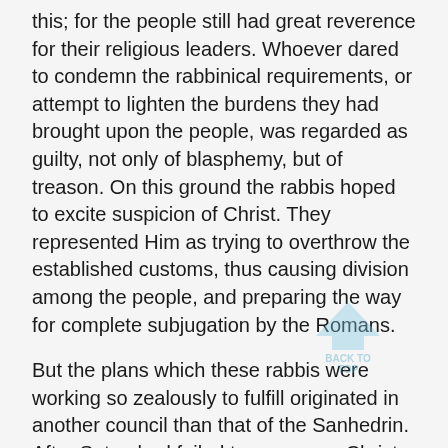this; for the people still had great reverence for their religious leaders. Whoever dared to condemn the rabbinical requirements, or attempt to lighten the burdens they had brought upon the people, was regarded as guilty, not only of blasphemy, but of treason. On this ground the rabbis hoped to excite suspicion of Christ. They represented Him as trying to overthrow the established customs, thus causing division among the people, and preparing the way for complete subjugation by the Romans.
But the plans which these rabbis were working so zealously to fulfill originated in another council than that of the Sanhedrin. After Satan had failed to overcome Christ in the wilderness, he combined his forces to oppose Him in His ministry, and if possible to thwart His work. What he could not accomplish by direct, personal effort, he determined to effect by strategy. No sooner had he withdrawn from the conflict in the wilderness than in
[Figure (illustration): A light blue upward-pointing arrow icon with the text 'BACK TO TOP' overlaid, used as a navigation button.]